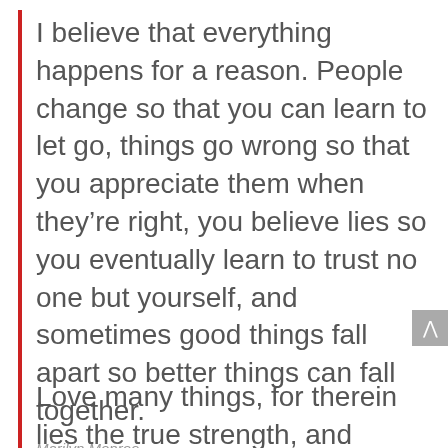I believe that everything happens for a reason. People change so that you can learn to let go, things go wrong so that you appreciate them when they're right, you believe lies so you eventually learn to trust no one but yourself, and sometimes good things fall apart so better things can fall together.
Marilyn Monroe
Love many things, for therein lies the true strength, and whosoever